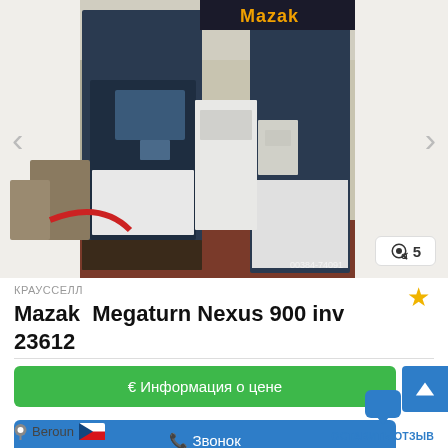[Figure (photo): Mazak Megaturn Nexus 900 CNC machine in industrial workshop setting, large blue/dark colored vertical machining center]
КРАУССЕЛЛ
Mazak  Megaturn Nexus 900 inv 23612
€ Информация о цене
✆ Звонок
Beroun
ОСТАВИТЬ ОТЗЫВ